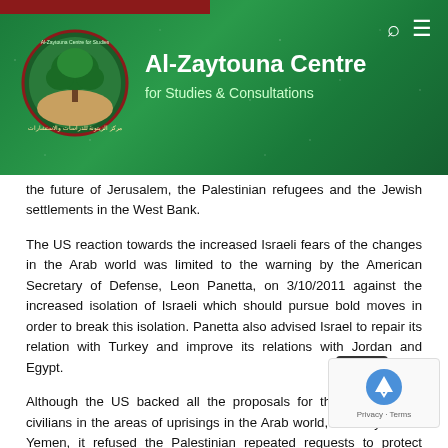Al-Zaytouna Centre for Studies & Consultations
the future of Jerusalem, the Palestinian refugees and the Jewish settlements in the West Bank.
The US reaction towards the increased Israeli fears of the changes in the Arab world was limited to the warning by the American Secretary of Defense, Leon Panetta, on 3/10/2011 against the increased isolation of Israeli which should pursue bold moves in order to break this isolation. Panetta also advised Israel to repair its relation with Turkey and improve its relations with Jordan and Egypt.
Although the US backed all the proposals for the protection of civilians in the areas of uprisings in the Arab world, as in Syria and Yemen, it refused the Palestinian repeated requests to protect civilians in the West Bank and Gaza Strip.